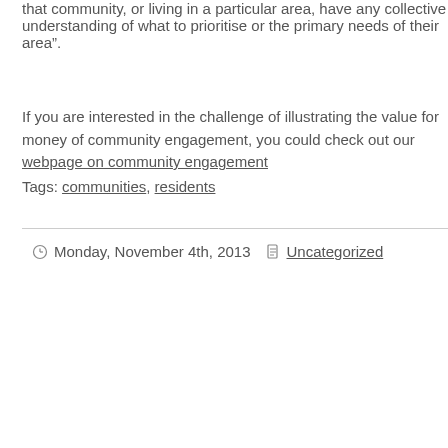that community, or living in a particular area, have any collective understanding of what to prioritise or the primary needs of their area".
If you are interested in the challenge of illustrating the value for money of community engagement, you could check out our webpage on community engagement
Tags: communities, residents
Monday, November 4th, 2013   Uncategorized